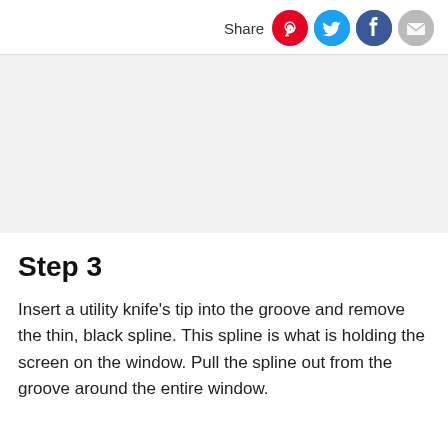Share
[Figure (other): Gray placeholder image area]
Step 3
Insert a utility knife's tip into the groove and remove the thin, black spline. This spline is what is holding the screen on the window. Pull the spline out from the groove around the entire window.